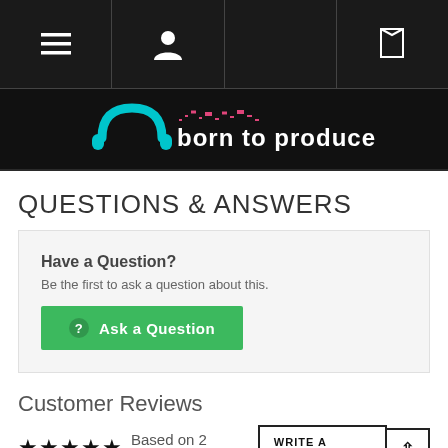[Figure (screenshot): Website navigation bar with hamburger menu icon, user/profile icon, and book/product icon on dark background]
[Figure (logo): Born To Produce logo with teal headphone arch graphic and pink audio waveform, white text reading 'born to produce']
QUESTIONS & ANSWERS
Have a Question? Be the first to ask a question about this.
Ask a Question
Customer Reviews
★★★★★ Based on 2 reviews
WRITE A REVIEW